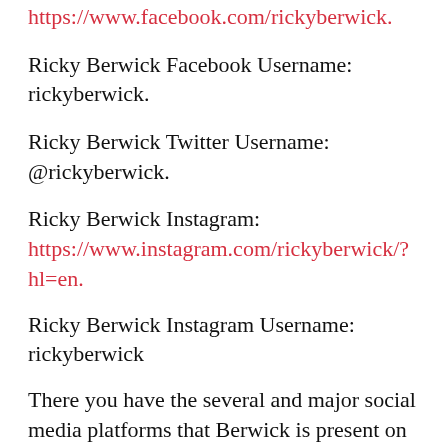https://www.facebook.com/rickyberwick.
Ricky Berwick Facebook Username: rickyberwick.
Ricky Berwick Twitter Username: @rickyberwick.
Ricky Berwick Instagram: https://www.instagram.com/rickyberwick/?hl=en.
Ricky Berwick Instagram Username: rickyberwick
There you have the several and major social media platforms that Berwick is present on and